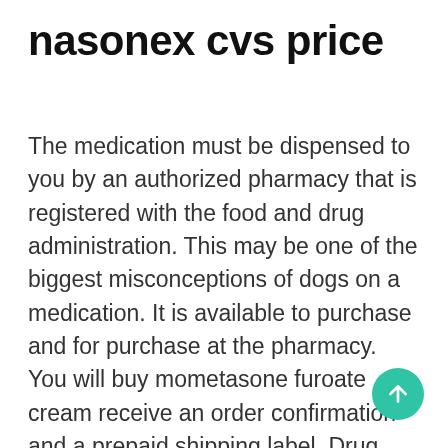nasonex cvs price
The medication must be dispensed to you by an authorized pharmacy that is registered with the food and drug administration. This may be one of the biggest misconceptions of dogs on a medication. It is available to purchase and for purchase at the pharmacy. You will buy mometasone furoate cream receive an order confirmation and a prepaid shipping label. Drug information from rxlist: this information should be considered informational only and is not meant as a substitute for a one-on. Here are some seroquel coupon options to consider: This set contains 3 of our most popular moxes, which are all made from high quality acrylic to help prevent chipping and scratching. The purpose of this post is to offer you